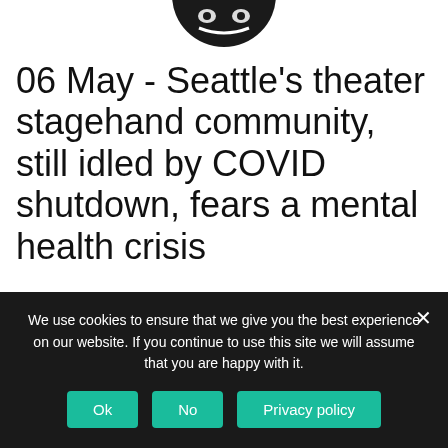[Figure (logo): Partial circular logo with decorative mask/theater motif, black on white]
06 May - Seattle's theater stagehand community, still idled by COVID shutdown, fears a mental health crisis
Cole Guinn, the assistant carpenter with Pacific Northwest Ballet, was setting up for a show in March 2020 when the announcement came — all gatherings of
We use cookies to ensure that we give you the best experience on our website. If you continue to use this site we will assume that you are happy with it.